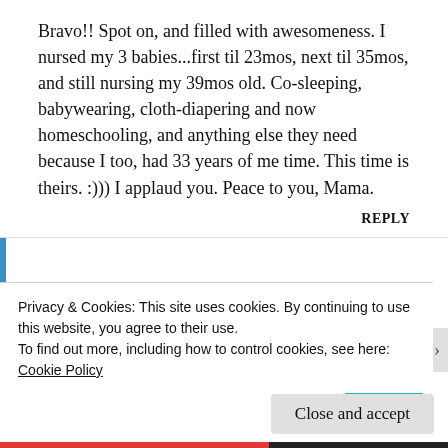Bravo!! Spot on, and filled with awesomeness. I nursed my 3 babies...first til 23mos, next til 35mos, and still nursing my 39mos old. Co-sleeping, babywearing, cloth-diapering and now homeschooling, and anything else they need because I too, had 33 years of me time. This time is theirs. :))) I applaud you. Peace to you, Mama.
REPLY
TheCautiousMom
17 May 2015 at 5:37 am
[Figure (illustration): Avatar icon with blue and white diamond pattern on teal background, rounded square shape]
Privacy & Cookies: This site uses cookies. By continuing to use this website, you agree to their use.
To find out more, including how to control cookies, see here: Cookie Policy
Close and accept